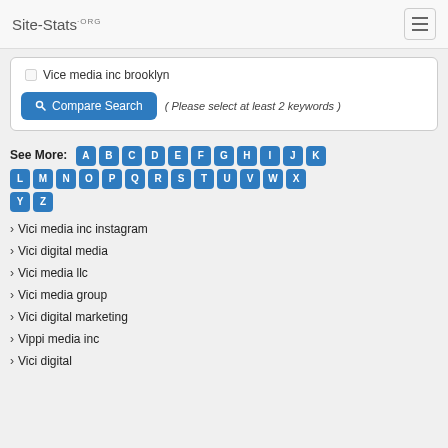Site-Stats.ORG
Vice media inc brooklyn
Compare Search ( Please select at least 2 keywords )
See More: A B C D E F G H I J K L M N O P Q R S T U V W X Y Z
Vici media inc instagram
Vici digital media
Vici media llc
Vici media group
Vici digital marketing
Vippi media inc
Vici digital